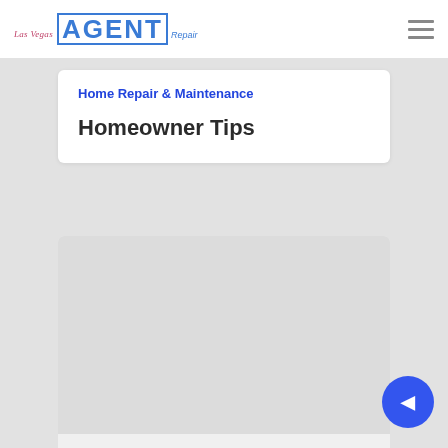Las Vegas Agent Repair
Home Repair & Maintenance
Homeowner Tips
[Figure (photo): Placeholder image area within card, light gray rectangle]
Home Repair & Maintenance